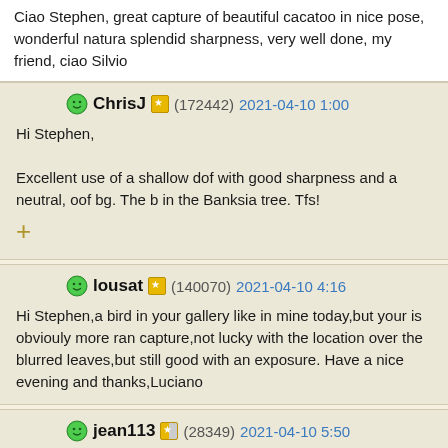Ciao Stephen, great capture of beautiful cacatoo in nice pose, wonderful natura splendid sharpness, very well done, my friend, ciao Silvio
ChrisJ (172442) 2021-04-10 1:00
Hi Stephen,

Excellent use of a shallow dof with good sharpness and a neutral, oof bg. The b in the Banksia tree. Tfs!
lousat (140070) 2021-04-10 4:16
Hi Stephen,a bird in your gallery like in mine today,but your is obviouly more ran capture,not lucky with the location over the blurred leaves,but still good with an exposure. Have a nice evening and thanks,Luciano
jean113 (28349) 2021-04-10 5:50
Hello Stephen, you have managed an excellent sharp focus on the Cockatoo an lovely blurred background. And, the catchlight in its eye.
That beak looks as if it could be dangerous!
Thanks for sharing.
Kind regards, Jean